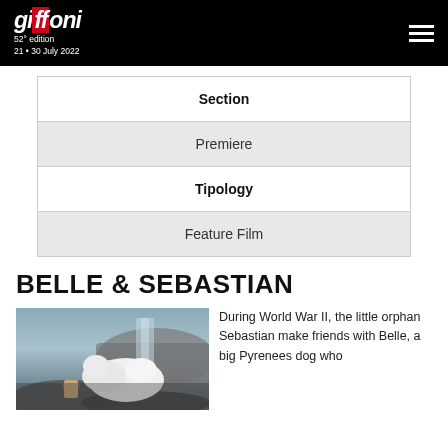Giffoni 52° edition 21 • 30 July 2022
| Section | Tipology |
| --- | --- |
| Premiere | Feature Film |
BELLE & SEBASTIAN
[Figure (photo): A child sitting with a large white Pyrenees dog near a waterfall and rocky landscape]
During World War II, the little orphan Sebastian make friends with Belle, a big Pyrenees dog who